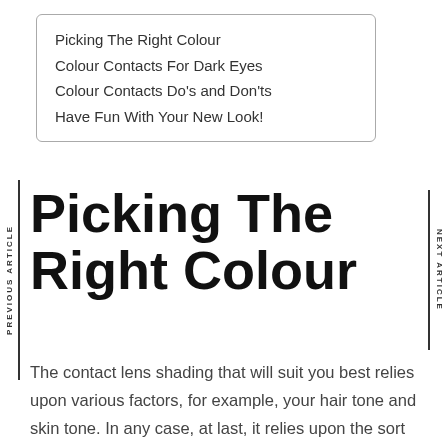Picking The Right Colour
Colour Contacts For Dark Eyes
Colour Contacts Do's and Don'ts
Have Fun With Your New Look!
PREVIOUS ARTICLE
NEXT ARTICLE
Picking The Right Colour
The contact lens shading that will suit you best relies upon various factors, for example, your hair tone and skin tone. In any case, at last, it relies upon the sort of look you need to accomplish — unpretentious and characteristic